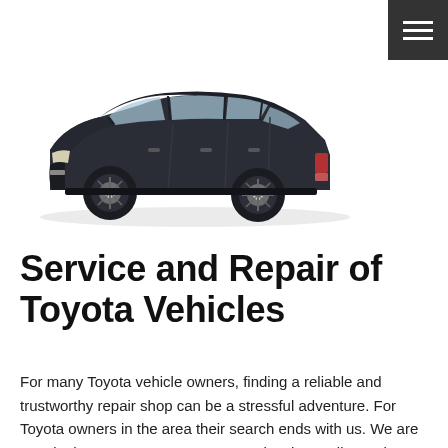[Figure (photo): Dark navy/black Toyota station wagon (estate car) parked facing right, shown in a product/studio-style photograph on a white background.]
Service and Repair of Toyota Vehicles
For many Toyota vehicle owners, finding a reliable and trustworthy repair shop can be a stressful adventure. For Toyota owners in the area their search ends with us. We are certain that once our customers receive the quality work we